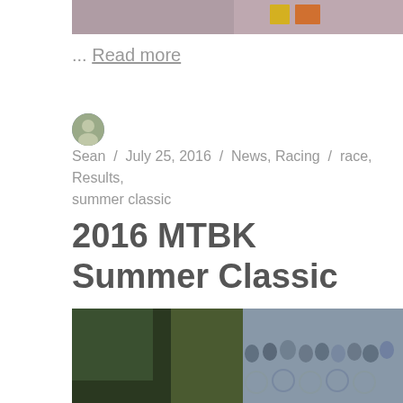[Figure (photo): Top portion of a photo, showing flags and a blurred background scene]
… Read more
Sean / July 25, 2016 / News, Racing / race, Results, summer classic
2016 MTBK Summer Classic
[Figure (photo): Cyclists at the start line of the 2016 MTBK Summer Classic race, with a person holding a red flag]